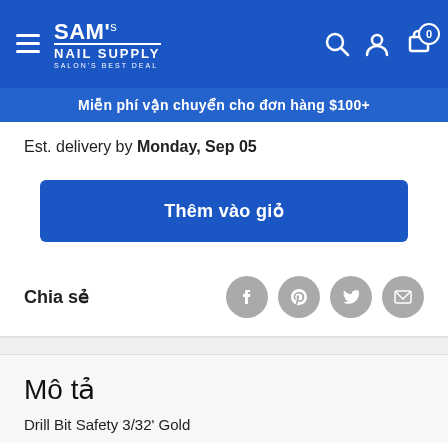SAM's NAIL SUPPLY — SALON'S BEST DEAL
Miễn phí vận chuyển cho đơn hàng $100+
Est. delivery by Monday, Sep 05
Thêm vào giỏ
Chia sẻ
Mô tả
Drill Bit Safety 3/32' Gold